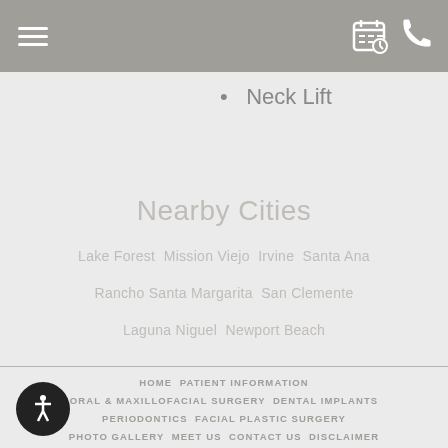Navigation bar with hamburger menu and icons
Neck Lift
Nearby Cities
Lake Forest  Mission Viejo  Irvine  Santa Ana
Rancho Santa Margarita  San Clemente
Laguna Niguel  Newport Beach
HOME  PATIENT INFORMATION  ORAL & MAXILLOFACIAL SURGERY  DENTAL IMPLANTS  PERIODONTICS  FACIAL PLASTIC SURGERY  PHOTO GALLERY  MEET US  CONTACT US  DISCLAIMER  SITEMAP